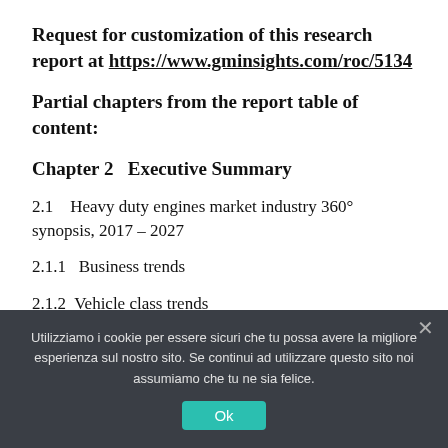Request for customization of this research report at https://www.gminsights.com/roc/5134
Partial chapters from the report table of content:
Chapter 2   Executive Summary
2.1    Heavy duty engines market industry 360° synopsis, 2017 – 2027
2.1.1    Business trends
2.1.2   Vehicle class trends
Utilizziamo i cookie per essere sicuri che tu possa avere la migliore esperienza sul nostro sito. Se continui ad utilizzare questo sito noi assumiamo che tu ne sia felice.